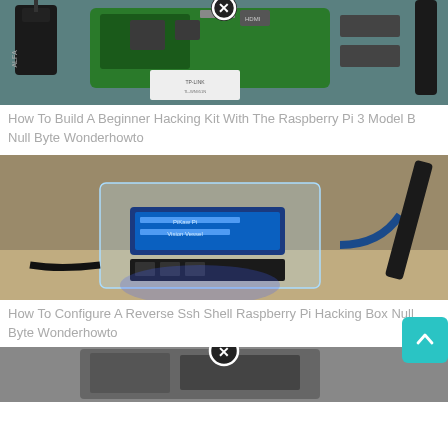[Figure (photo): Electronics components including Raspberry Pi 3 Model B and WiFi adapters on a teal surface, with an X/close badge overlay]
How To Build A Beginner Hacking Kit With The Raspberry Pi 3 Model B Null Byte Wonderhowto
[Figure (photo): Raspberry Pi in acrylic case with blue LCD display showing text, connected to a WiFi antenna dongle, glowing blue light on a beige surface]
How To Configure A Reverse Ssh Shell Raspberry Pi Hacking Box Null Byte Wonderhowto
[Figure (photo): Partial view of another electronics/Raspberry Pi setup with an X/close badge overlay at the top]